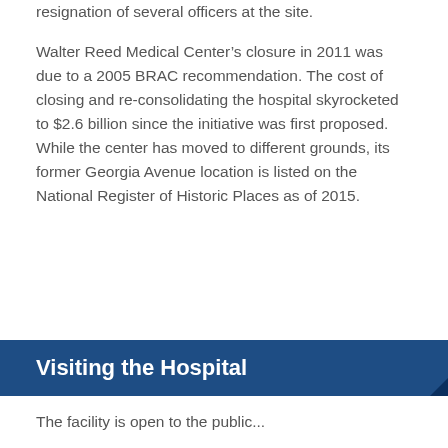resignation of several officers at the site.
Walter Reed Medical Center's closure in 2011 was due to a 2005 BRAC recommendation. The cost of closing and re-consolidating the hospital skyrocketed to $2.6 billion since the initiative was first proposed. While the center has moved to different grounds, its former Georgia Avenue location is listed on the National Register of Historic Places as of 2015.
Visiting the Hospital
The facility is open to the public...